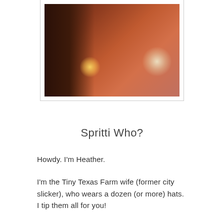[Figure (photo): Warm bokeh photo with Christmas tree lights and orange-red tones, partially visible at top of page, with white frame border]
Spritti Who?
Howdy. I'm Heather.
I'm the Tiny Texas Farm wife (former city slicker), who wears a dozen (or more) hats. I tip them all for you!
I'm a  Native Texan, Christian, Homeschool Mama